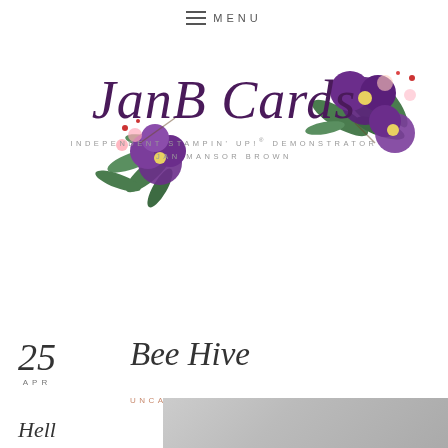≡ MENU
[Figure (logo): JanB Cards logo with purple floral watercolor decoration, script text 'JanB Cards', subtitle 'INDEPENDENT STAMPIN' UP!® DEMONSTRATOR JAN MANSOR BROWN']
25 APR
Bee Hive
UNCATEGORIZED
Hell